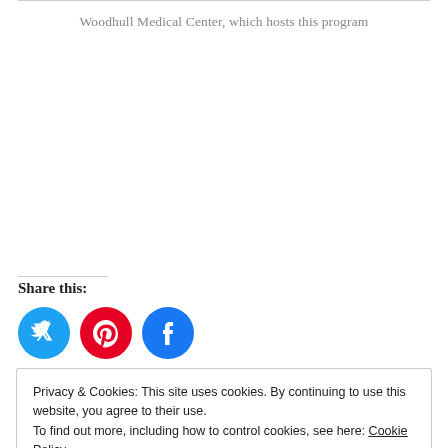Woodhull Medical Center, which hosts this program
Share this:
[Figure (infographic): Social media share buttons: Twitter (blue circle), Pinterest (red circle), Facebook (blue circle)]
Privacy & Cookies: This site uses cookies. By continuing to use this website, you agree to their use.
To find out more, including how to control cookies, see here: Cookie Policy
Close and accept